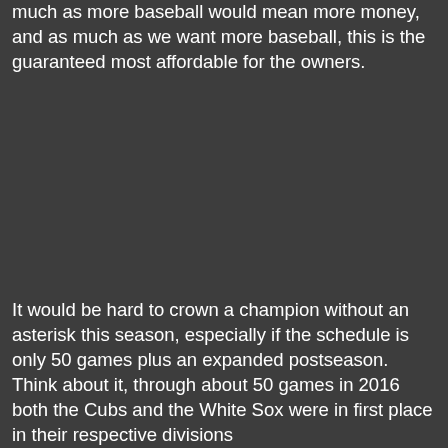much as more baseball would mean more money, and as much as we want more baseball, this is the guaranteed most affordable for the owners.
It would be hard to crown a champion without an asterisk this season, especially if the schedule is only 50 games plus an expanded postseason. Think about it, through about 50 games in 2016 both the Cubs and the White Sox were in first place in their respective divisions